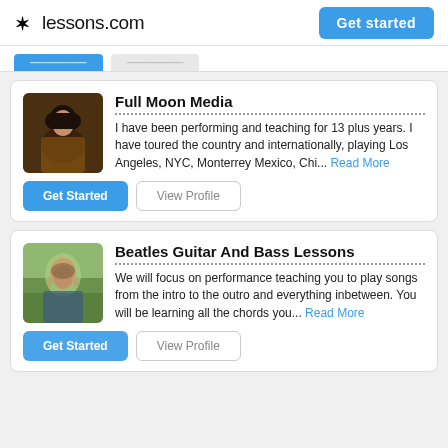lessons.com  Get started
[Tab bar with active and inactive filter buttons]
Full Moon Media
I have been performing and teaching for 13 plus years. I have toured the country and internationally, playing Los Angeles, NYC, Monterrey Mexico, Chi... Read More
Get Started  View Profile
Beatles Guitar And Bass Lessons
We will focus on performance teaching you to play songs from the intro to the outro and everything inbetween. You will be learning all the chords you... Read More
Get Started  View Profile